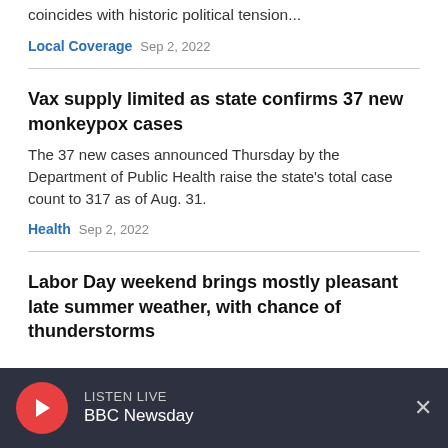constitutional right to abortion. It also coincides with historic political tension...
Local Coverage  Sep 2, 2022
Vax supply limited as state confirms 37 new monkeypox cases
The 37 new cases announced Thursday by the Department of Public Health raise the state's total case count to 317 as of Aug. 31.
Health  Sep 2, 2022
Labor Day weekend brings mostly pleasant late summer weather, with chance of thunderstorms
LISTEN LIVE BBC Newsday